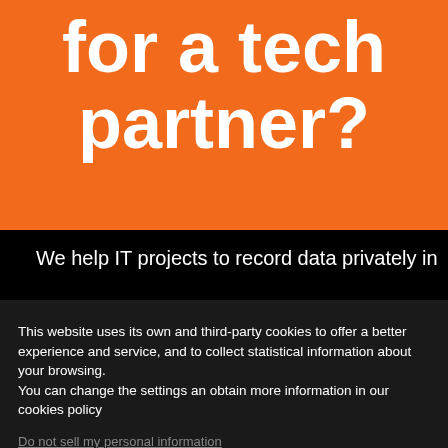for a tech partner?
We help IT projects to record data privately in
This website uses its own and third-party cookies to offer a better experience and service, and to collect statistical information about your browsing.
You can change the settings an obtain more information in our cookies policy
Do not sell my personal information.
Cookie Settings | Accept